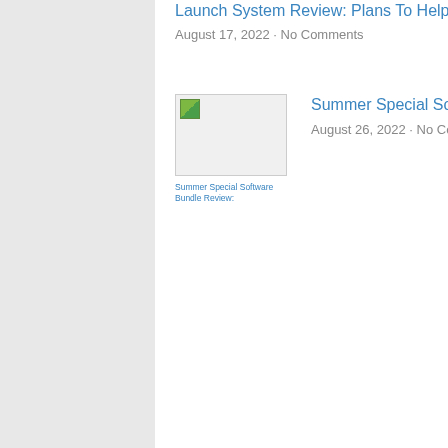Launch System Review: Plans To Help 1,000 Average Joes Build A Million-Dollar Biz
August 17, 2022 · No Comments
Summer Special Software Bundle Review: 12 SaaS …
August 26, 2022 · No Comments